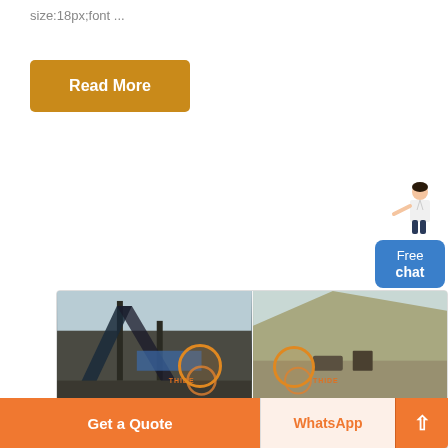size:18px;font ...
Read More
[Figure (photo): 2x2 grid of mining/quarry and industrial equipment photos with THIDE brand logo. Top-left: conveyor belt system at a mine site. Top-right: hillside quarry with processing equipment. Bottom-left: industrial dust collection/processing facility interior. Bottom-right: yellow and red impact crusher machine.]
Free chat
Get a Quote
WhatsApp